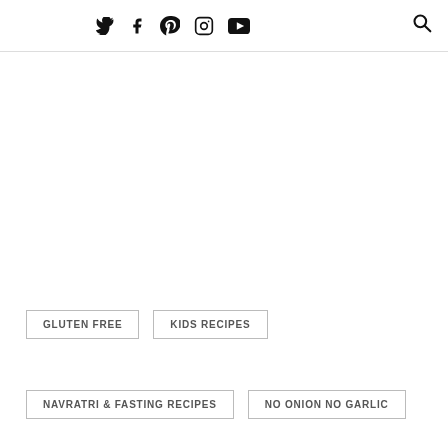Social media icons: Twitter, Facebook, Pinterest, Instagram, YouTube, Search
GLUTEN FREE
KIDS RECIPES
NAVRATRI & FASTING RECIPES
NO ONION NO GARLIC